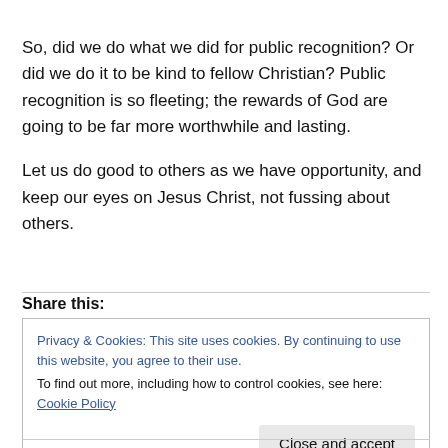So, did we do what we did for public recognition?  Or did we do it to be kind to fellow Christian?  Public recognition is so fleeting; the rewards of God are going to be far more worthwhile and lasting.
Let us do good to others as we have opportunity, and keep our eyes on Jesus Christ, not fussing about others.
Share this:
Privacy & Cookies: This site uses cookies. By continuing to use this website, you agree to their use.
To find out more, including how to control cookies, see here: Cookie Policy